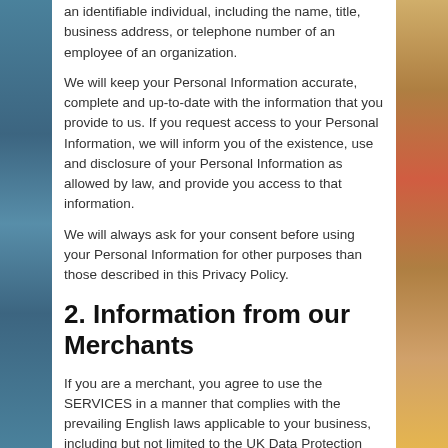an identifiable individual, including the name, title, business address, or telephone number of an employee of an organization.
We will keep your Personal Information accurate, complete and up-to-date with the information that you provide to us. If you request access to your Personal Information, we will inform you of the existence, use and disclosure of your Personal Information as allowed by law, and provide you access to that information.
We will always ask for your consent before using your Personal Information for other purposes than those described in this Privacy Policy.
2. Information from our Merchants
If you are a merchant, you agree to use the SERVICES in a manner that complies with the prevailing English laws applicable to your business, including but not limited to the UK Data Protection Act 1998 ("DPA").
What information do we